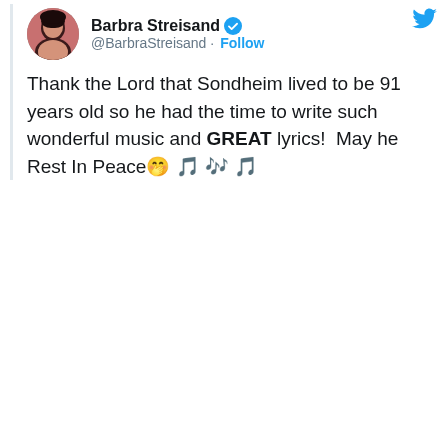[Figure (screenshot): Tweet from Barbra Streisand (@BarbraStreisand) with verified badge and Follow button. Tweet text: 'Thank the Lord that Sondheim lived to be 91 years old so he had the time to write such wonderful music and GREAT lyrics! May he Rest In Peace 🤭 🎵 🎶 🎵']
Thank the Lord that Sondheim lived to be 91 years old so he had the time to write such wonderful music and GREAT lyrics!  May he Rest In Peace 🤭 🎵 🎶 🎵